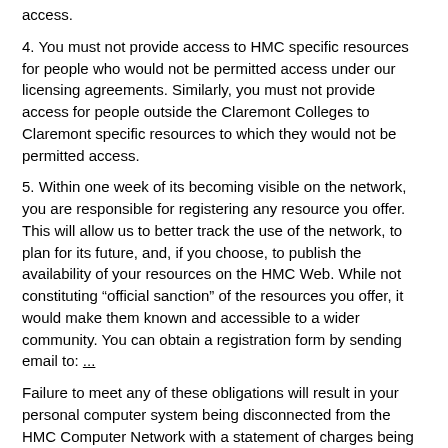access.
4. You must not provide access to HMC specific resources for people who would not be permitted access under our licensing agreements. Similarly, you must not provide access for people outside the Claremont Colleges to Claremont specific resources to which they would not be permitted access.
5. Within one week of its becoming visible on the network, you are responsible for registering any resource you offer. This will allow us to better track the use of the network, to plan for its future, and, if you choose, to publish the availability of your resources on the HMC Web. While not constituting “official sanction” of the resources you offer, it would make them known and accessible to a wider community. You can obtain a registration form by sending email to: ...
Failure to meet any of these obligations will result in your personal computer system being disconnected from the HMC Computer Network with a statement of charges being referred to the HMC Disciplinary Board within two working days. If warranted, additional steps may be taken, including referral to legal authorities.
If you have questions about offering resources from your personal